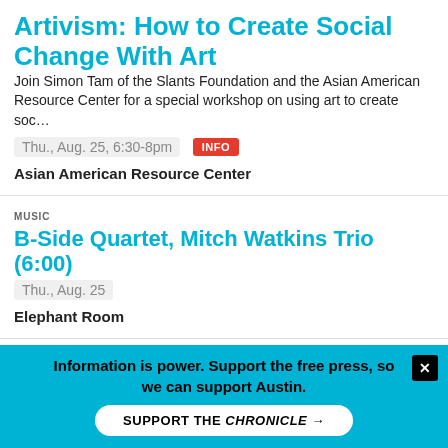Artivism: How to Create Social Change With Art
Join Simon Tam of the Slants Foundation and the Asian American Resource Center for a special workshop on using art to create soc…
Thu., Aug. 25, 6:30-8pm INFO
Asian American Resource Center
MUSIC
B-Side Quartet, Mitch Watkins Trio (6:00)
Thu., Aug. 25
Elephant Room
COMMUNITY  SPORTS
Ballet Austin Online Fitness Classes
Choose from a variety of movement classes offered via livestream.
Ongoing and June 21, July 29  SCHEDULE
Information is power. Support the free press, so we can support Austin.
SUPPORT THE CHRONICLE →